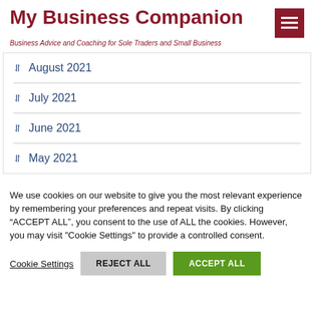My Business Companion
Business Advice and Coaching for Sole Traders and Small Business
August 2021
July 2021
June 2021
May 2021
We use cookies on our website to give you the most relevant experience by remembering your preferences and repeat visits. By clicking “ACCEPT ALL”, you consent to the use of ALL the cookies. However, you may visit "Cookie Settings" to provide a controlled consent.
Cookie Settings | REJECT ALL | ACCEPT ALL